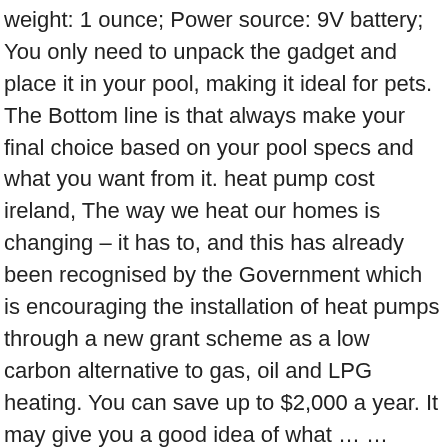weight: 1 ounce; Power source: 9V battery; You only need to unpack the gadget and place it in your pool, making it ideal for pets. The Bottom line is that always make your final choice based on your pool specs and what you want from it. heat pump cost ireland, The way we heat our homes is changing – it has to, and this has already been recognised by the Government which is encouraging the installation of heat pumps through a new grant scheme as a low carbon alternative to gas, oil and LPG heating. You can save up to $2,000 a year. It may give you a good idea of what … … Each pool pump specs will state the size of the fittings required. Easy Cleaning With Removable Over-Sized Basket Strainer And See-Through Viewing Lid For Clear Viewing. Rank Product Name Score; 1 st: ECO 10 - 9.5kW Swimming Pool Heat Pump (0891963) By HydroPro. Cost Comparison for Running an Electric Vs. a Gas Pool Heater. Free shipping for many products! With its 2.25 sq. Techko S187D Safe Pool Alarm ranks among the best models in terms of usage. Best prices on swimming pool heaters, pool heat pumps and pool supplies. It features a digital